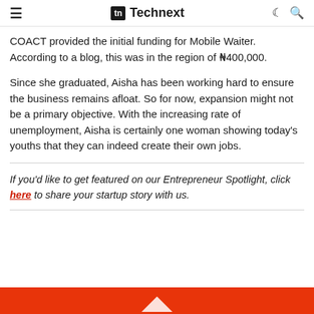≡  tn Technext  ☾ 🔍
COACT provided the initial funding for Mobile Waiter. According to a blog, this was in the region of N400,000.
Since she graduated, Aisha has been working hard to ensure the business remains afloat. So for now, expansion might not be a primary objective. With the increasing rate of unemployment, Aisha is certainly one woman showing today's youths that they can indeed create their own jobs.
If you'd like to get featured on our Entrepreneur Spotlight, click here to share your startup story with us.